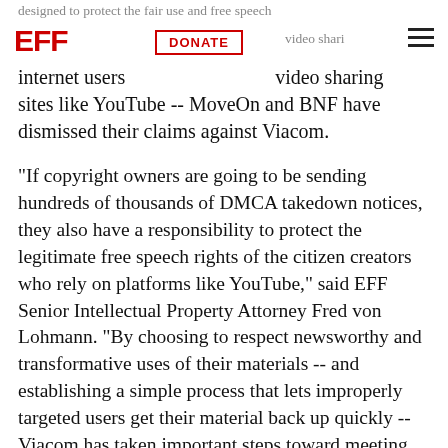designed to protect the fair use and free speech internet users video sharing sites like YouTube -- MoveOn and BNF have dismissed their claims against Viacom.
"If copyright owners are going to be sending hundreds of thousands of DMCA takedown notices, they also have a responsibility to protect the legitimate free speech rights of the citizen creators who rely on platforms like YouTube," said EFF Senior Intellectual Property Attorney Fred von Lohmann. "By choosing to respect newsworthy and transformative uses of their materials -- and establishing a simple process that lets improperly targeted users get their material back up quickly -- Viacom has taken important steps toward meeting that responsibility. We hope other media companies will follow Viacom's lead."